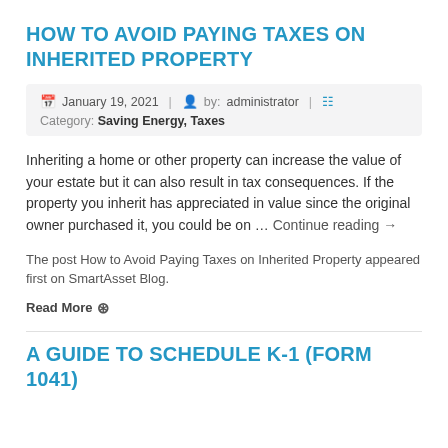HOW TO AVOID PAYING TAXES ON INHERITED PROPERTY
January 19, 2021 | by: administrator |
Category: Saving Energy, Taxes
Inheriting a home or other property can increase the value of your estate but it can also result in tax consequences. If the property you inherit has appreciated in value since the original owner purchased it, you could be on … Continue reading →
The post How to Avoid Paying Taxes on Inherited Property appeared first on SmartAsset Blog.
Read More ⊙
A GUIDE TO SCHEDULE K-1 (FORM 1041)